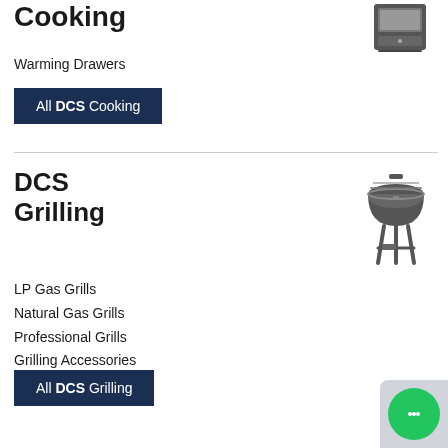Cooking
[Figure (illustration): Dark gray icon of a warming drawer appliance]
Warming Drawers
All DCS Cooking
[Figure (illustration): Dark gray icon of a kettle grill on legs]
DCS Grilling
LP Gas Grills
Natural Gas Grills
Professional Grills
Grilling Accessories
All DCS Grilling